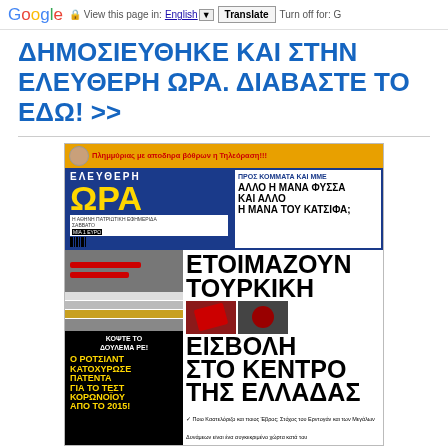Google  View this page in: English [▼]  Translate  Turn off for: G
ΔΗΜΟΣΙΕΥΘΗΚΕ ΚΑΙ ΣΤΗΝ ΕΛΕΥΘΕΡΗ ΩΡΑ. ΔΙΑΒΑΣΤΕ ΤΟ ΕΔΩ! >>
[Figure (photo): Front page of Eleftheri Ora Greek newspaper showing headlines about Turkish invasion and Rothschild COVID patent, with masthead in blue and gold.]